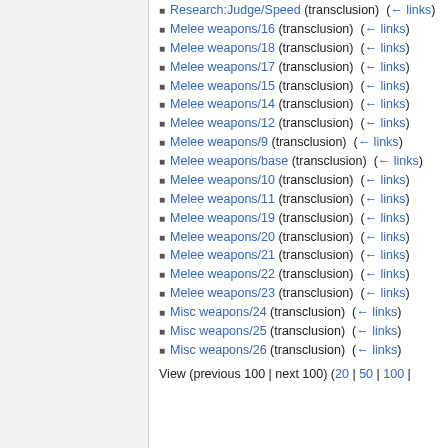Research:Judge/Speed (transclusion) (← links)
Melee weapons/16 (transclusion) (← links)
Melee weapons/18 (transclusion) (← links)
Melee weapons/17 (transclusion) (← links)
Melee weapons/15 (transclusion) (← links)
Melee weapons/14 (transclusion) (← links)
Melee weapons/12 (transclusion) (← links)
Melee weapons/9 (transclusion) (← links)
Melee weapons/base (transclusion) (← links)
Melee weapons/10 (transclusion) (← links)
Melee weapons/11 (transclusion) (← links)
Melee weapons/19 (transclusion) (← links)
Melee weapons/20 (transclusion) (← links)
Melee weapons/21 (transclusion) (← links)
Melee weapons/22 (transclusion) (← links)
Melee weapons/23 (transclusion) (← links)
Misc weapons/24 (transclusion) (← links)
Misc weapons/25 (transclusion) (← links)
Misc weapons/26 (transclusion) (← links)
View (previous 100 | next 100) (20 | 50 | 100 |